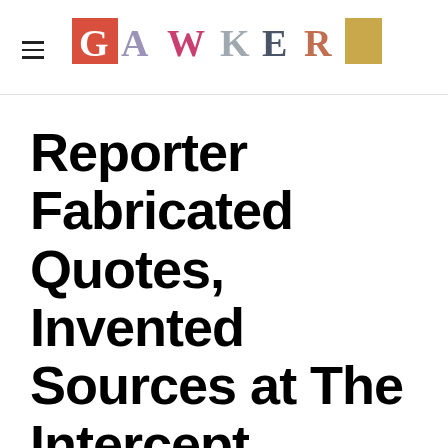GAWKER
Reporter Fabricated Quotes, Invented Sources at The Intercept
J.K. Trotter
02/02/16 03:22PM Filed to: THE INTERCEPT
94.70K